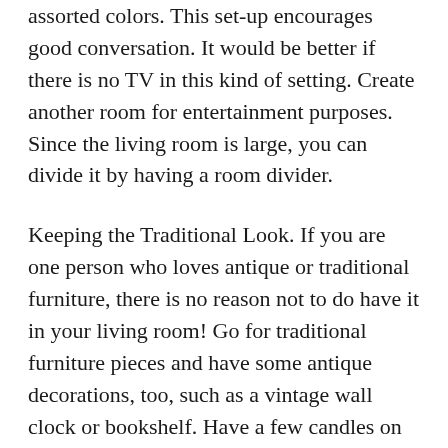assorted colors. This set-up encourages good conversation. It would be better if there is no TV in this kind of setting. Create another room for entertainment purposes. Since the living room is large, you can divide it by having a room divider.
Keeping the Traditional Look. If you are one person who loves antique or traditional furniture, there is no reason not to do have it in your living room! Go for traditional furniture pieces and have some antique decorations, too, such as a vintage wall clock or bookshelf. Have a few candles on ancient-looking candle stands on the table or near the fireplace. Go for a conventional chandelier. Light the candles while your fireplace is at work for a teté-a-teté and a more restful look.
Add Some Twist. Create an accent wall. For white modern living room furniture, choose blue, orange or any bright color for your accent wall. Then have the other walls painted in the same color but a few lighter shades. Let the fireplace or the...